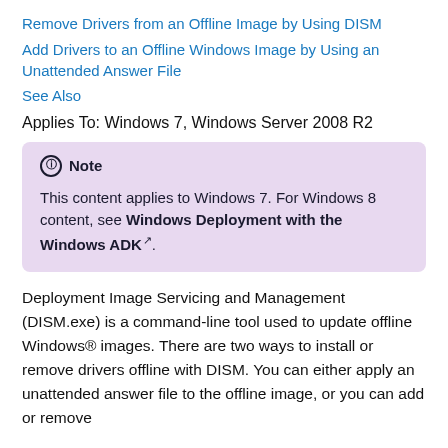Remove Drivers from an Offline Image by Using DISM
Add Drivers to an Offline Windows Image by Using an Unattended Answer File
See Also
Applies To: Windows 7, Windows Server 2008 R2
Note

This content applies to Windows 7. For Windows 8 content, see Windows Deployment with the Windows ADK.
Deployment Image Servicing and Management (DISM.exe) is a command-line tool used to update offline Windows® images. There are two ways to install or remove drivers offline with DISM. You can either apply an unattended answer file to the offline image, or you can add or remove